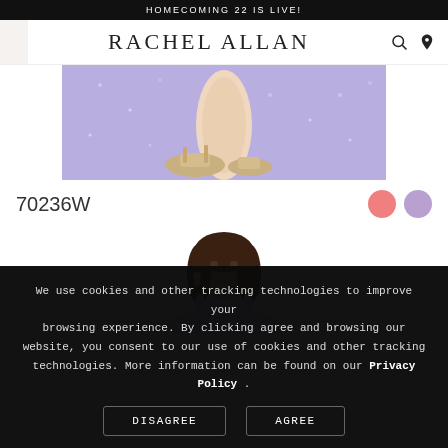HOMECOMING 22 IS LIVE!
RACHEL ALLAN
[Figure (photo): Cropped bottom portion of a sparkly lavender/periwinkle sequin dress with gold wedge heels on a white background]
70236W
[Figure (illustration): Two color swatches: pink and lavender/purple circles]
[Figure (photo): Model with dark hair wearing a sparkling dress, partial upper body shot]
We use cookies and other tracking technologies to improve your browsing experience. By clicking agree and browsing our website, you consent to our use of cookies and other tracking technologies. More information can be found on our Privacy Policy .
DISAGREE
AGREE